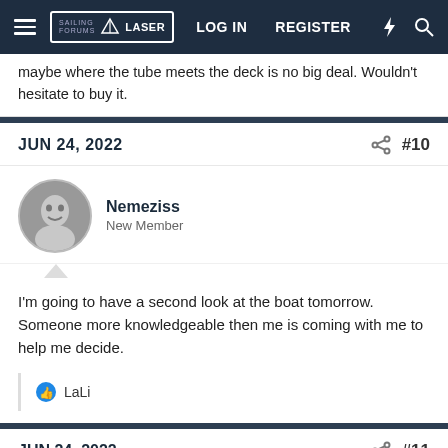Sailing Forums Laser — LOG IN  REGISTER
maybe where the tube meets the deck is no big deal. Wouldn't hesitate to buy it.
JUN 24, 2022  #10
Nemeziss
New Member
I'm going to have a second look at the boat tomorrow. Someone more knowledgeable then me is coming with me to help me decide.
👍 LaLi
JUN 24, 2022  #11